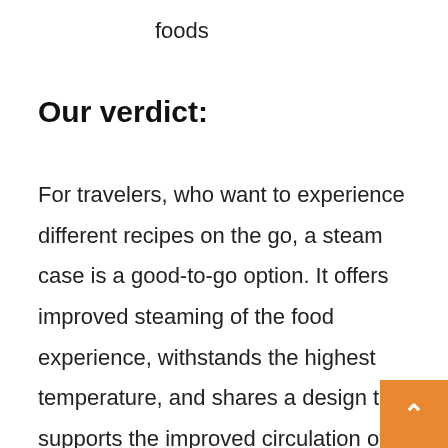foods
Our verdict:
For travelers, who want to experience different recipes on the go, a steam case is a good-to-go option. It offers improved steaming of the food experience, withstands the highest temperature, and shares a design that supports the improved circulation of the steam. It is a simple design, just a lid, and steam tra... Cleaning will be easier and safer than ever